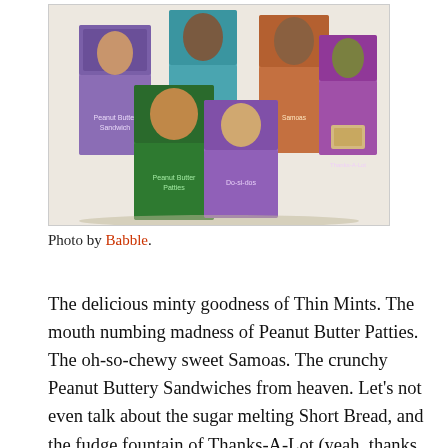[Figure (photo): Photo of multiple Girl Scout cookie boxes arranged together, including Thin Mints, Samoas, Peanut Butter Patties, and other varieties, displayed in a white-bordered frame.]
Photo by Babble.
The delicious minty goodness of Thin Mints. The mouth numbing madness of Peanut Butter Patties. The oh-so-chewy sweet Samoas. The crunchy Peanut Buttery Sandwiches from heaven. Let’s not even talk about the sugar melting Short Bread, and the fudge fountain of Thanks-A-Lot (yeah, thanks A LOT). Don’t even look for the low fat brands. They aren’t there. Go